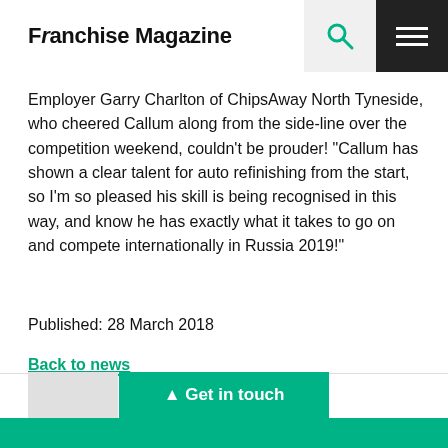Franchise Magazine
Employer Garry Charlton of ChipsAway North Tyneside, who cheered Callum along from the side-line over the competition weekend, couldn't be prouder! "Callum has shown a clear talent for auto refinishing from the start, so I'm so pleased his skill is being recognised in this way, and know he has exactly what it takes to go on and compete internationally in Russia 2019!"
Published: 28 March 2018
Back to news